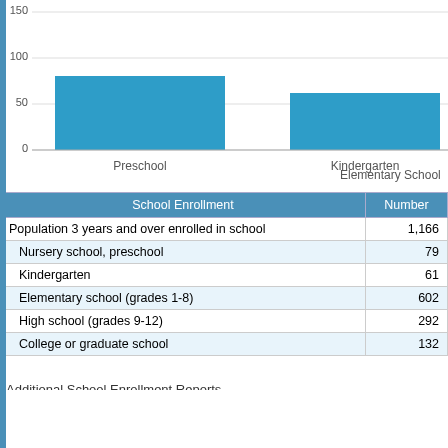[Figure (bar-chart): School Enrollment by Level (partial)]
| School Enrollment | Number |
| --- | --- |
| Population 3 years and over enrolled in school | 1,166 |
| Nursery school, preschool | 79 |
| Kindergarten | 61 |
| Elementary school (grades 1-8) | 602 |
| High school (grades 9-12) | 292 |
| College or graduate school | 132 |
Additional School Enrollment Reports
Percentage of High School Students in Nebraska by City
Percentage of College Students in Nebraska by City
Download Data
Fairbury Education Level
[Figure (bar-chart): Fairbury Education Level (partial)]